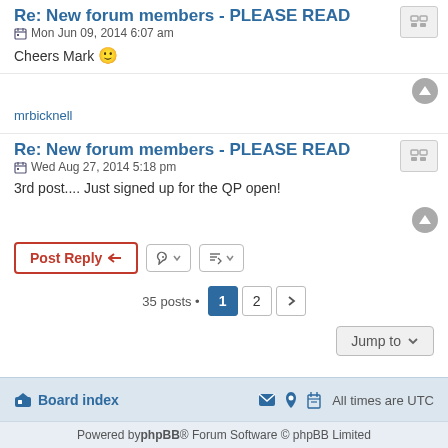Re: New forum members - PLEASE READ
Mon Jun 09, 2014 6:07 am
Cheers Mark 🙂
mrbicknell
Re: New forum members - PLEASE READ
Wed Aug 27, 2014 5:18 pm
3rd post.... Just signed up for the QP open!
35 posts • Page 1 2 >
Jump to
Board index  All times are UTC
Powered by phpBB® Forum Software © phpBB Limited